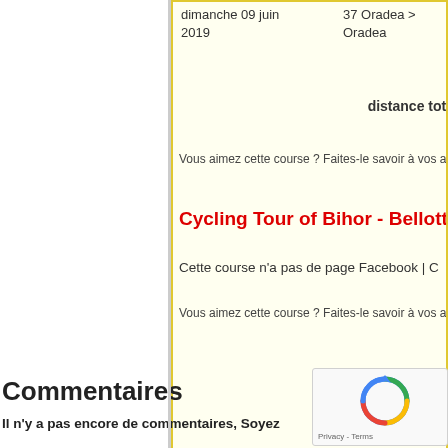dimanche 09 juin 2019
37 Oradea > Oradea
distance tota…
Vous aimez cette course ? Faites-le savoir à vos amis sur…
Cycling Tour of Bihor - Bellotto su…
Cette course n'a pas de page Facebook | C…
Vous aimez cette course ? Faites-le savoir à vos amis sur…
Commentaires
Il n'y a pas encore de commentaires, Soyez…